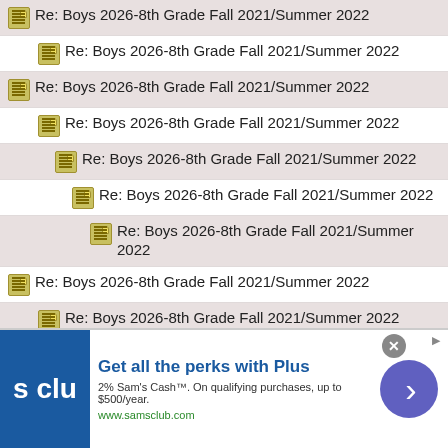Re: Boys 2026-8th Grade Fall 2021/Summer 2022
Re: Boys 2026-8th Grade Fall 2021/Summer 2022
Re: Boys 2026-8th Grade Fall 2021/Summer 2022
Re: Boys 2026-8th Grade Fall 2021/Summer 2022
Re: Boys 2026-8th Grade Fall 2021/Summer 2022
Re: Boys 2026-8th Grade Fall 2021/Summer 2022
Re: Boys 2026-8th Grade Fall 2021/Summer 2022
Re: Boys 2026-8th Grade Fall 2021/Summer 2022
Re: Boys 2026-8th Grade Fall 2021/Summer 2022
Re: Boys 2026-8th Grade Fall 2021/Summer 2022
Re: Boys 2026-8th Grade Fall 2021/Summer 2022
Re: Boys 2026-8th Grade Fall 2021/Summer 2022
[Figure (screenshot): Sam's Club advertisement: Get all the perks with Plus. 2% Sam's Cash. On qualifying purchases, up to $500/year. www.samsclub.com]